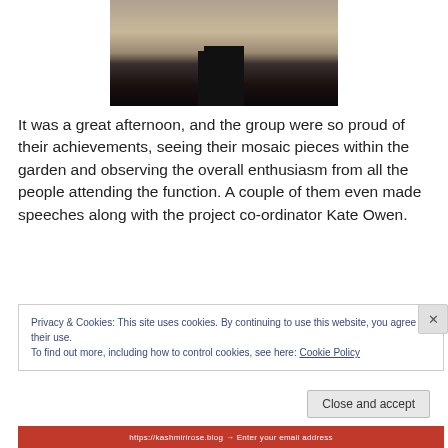[Figure (photo): Partial photo showing legs and boots of a person standing outdoors near a chair, with sandy/dirt ground visible]
It was a great afternoon, and the group were so proud of their achievements, seeing their mosaic pieces within the garden and observing the overall enthusiasm from all the people attending the function. A couple of them even made speeches along with the project co-ordinator Kate Owen.
Privacy & Cookies: This site uses cookies. By continuing to use this website, you agree to their use.
To find out more, including how to control cookies, see here: Cookie Policy
Close and accept